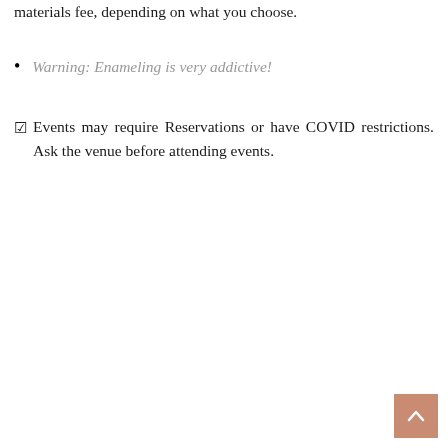materials fee, depending on what you choose.
Warning: Enameling is very addictive!
☑ Events may require Reservations or have COVID restrictions. Ask the venue before attending events.